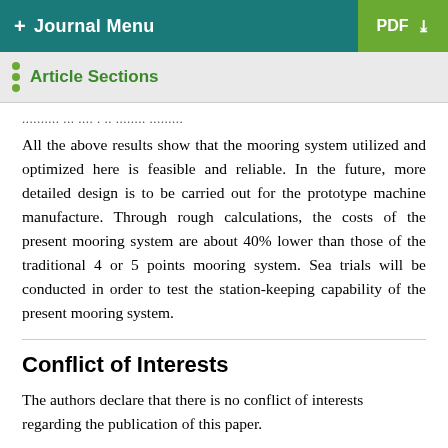+ Journal Menu | PDF ↓
Article Sections
......... ... .... . .. ....... .......
All the above results show that the mooring system utilized and optimized here is feasible and reliable. In the future, more detailed design is to be carried out for the prototype machine manufacture. Through rough calculations, the costs of the present mooring system are about 40% lower than those of the traditional 4 or 5 points mooring system. Sea trials will be conducted in order to test the station-keeping capability of the present mooring system.
Conflict of Interests
The authors declare that there is no conflict of interests regarding the publication of this paper.
Acknowledgments